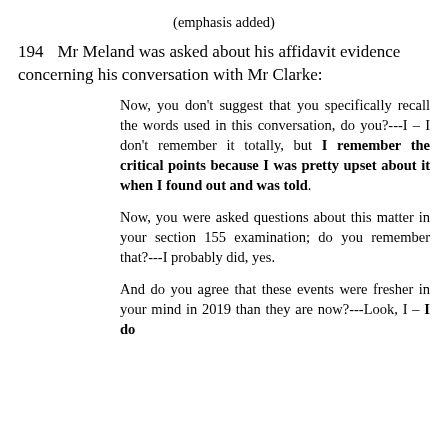(emphasis added)
194    Mr Meland was asked about his affidavit evidence concerning his conversation with Mr Clarke:
Now, you don't suggest that you specifically recall the words used in this conversation, do you?---I – I don't remember it totally, but I remember the critical points because I was pretty upset about it when I found out and was told.
Now, you were asked questions about this matter in your section 155 examination; do you remember that?---I probably did, yes.
And do you agree that these events were fresher in your mind in 2019 than they are now?---Look, I – I do